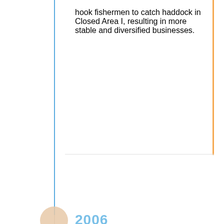hook fishermen to catch haddock in Closed Area I, resulting in more stable and diversified businesses.
2006
Helped secure federal funds to support cooperative research projects in New England, to improve fisheries science and support fishing businesses.